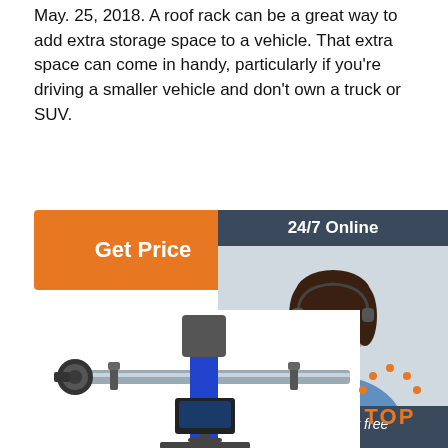May. 25, 2018. A roof rack can be a great way to add extra storage space to a vehicle. That extra space can come in handy, particularly if you're driving a smaller vehicle and don't own a truck or SUV.
[Figure (other): Orange 'Get Price' button]
[Figure (photo): Sidebar ad with '24/7 Online' header, photo of smiling woman with headset, 'Click here for free chat!' text, and orange 'QUOTATION' button]
[Figure (photo): Image of a wheel alignment machine with blue vertical column, horizontal bar with sensors, and monitor display]
[Figure (other): Orange 'TOP' badge with decorative dots above it forming an arc]